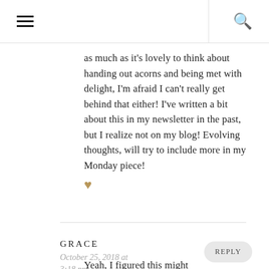☰ 🔍
as much as it's lovely to think about handing out acorns and being met with delight, I'm afraid I can't really get behind that either! I've written a bit about this in my newsletter in the past, but I realize not on my blog! Evolving thoughts, will try to include more in my Monday piece! 🤎
GRACE
October 25, 2018 at 3:18 pm
REPLY
Yeah, I figured this might